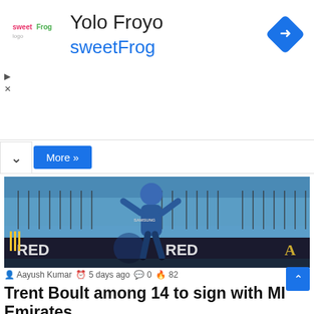[Figure (logo): sweetFrog logo and Yolo Froyo ad banner with navigation diamond icon]
More »
[Figure (photo): Cricket player in Mumbai Indians blue jersey celebrating with fists raised, advertising hoardings visible with RED lettering in background]
Aayush Kumar  5 days ago  0  82
Trent Boult among 14 to sign with MI Emirates